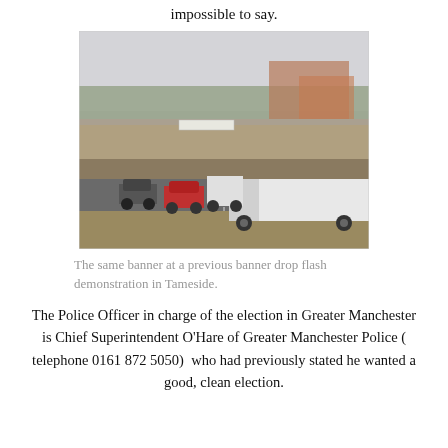impossible to say.
[Figure (photo): A motorway underpass/flyover scene. A white lorry/truck and cars are visible on the road below a concrete bridge overpass. A banner is hanging from the bridge railing. Bare winter trees and a building are visible in the background under an overcast grey sky.]
The same banner at a previous banner drop flash demonstration in Tameside.
The Police Officer in charge of the election in Greater Manchester is Chief Superintendent O'Hare of Greater Manchester Police ( telephone 0161 872 5050)  who had previously stated he wanted a good, clean election.